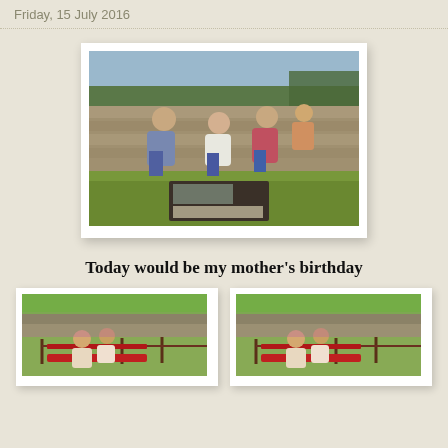Friday, 15 July 2016
[Figure (photo): Group of people sitting on ancient stone ruins/wall, with a green lawn and an information panel in the foreground]
Today would be my mother’s birthday
[Figure (photo): Two people sitting on a red bench in a garden setting]
[Figure (photo): Two people sitting on a red bench in a garden setting (duplicate or similar photo)]